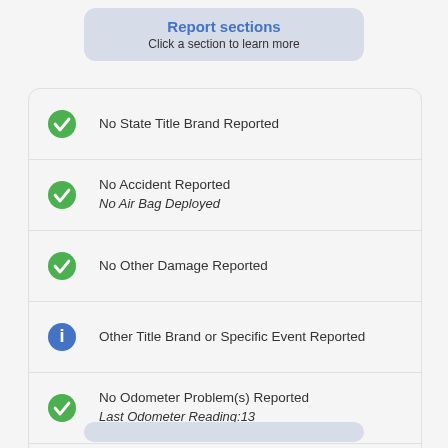Report sections
Click a section to learn more
No State Title Brand Reported
No Accident Reported
No Air Bag Deployed
No Other Damage Reported
Other Title Brand or Specific Event Reported
No Odometer Problem(s) Reported
Last Odometer Reading:13
No Open Recall(s) Reported
Service & Repair Information Reported